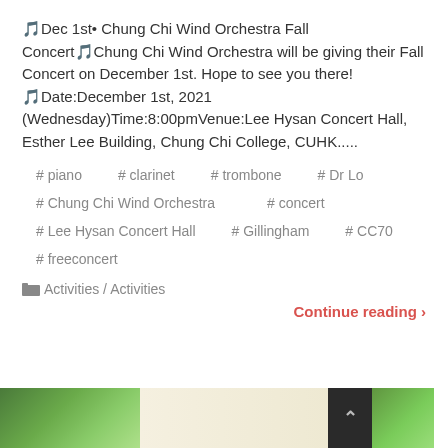🎵Dec 1st• Chung Chi Wind Orchestra Fall Concert🎵Chung Chi Wind Orchestra will be giving their Fall Concert on December 1st. Hope to see you there!🎵Date:December 1st, 2021 (Wednesday)Time:8:00pmVenue:Lee Hysan Concert Hall, Esther Lee Building, Chung Chi College, CUHK.....
# piano   # clarinet   # trombone   # Dr Lo
# Chung Chi Wind Orchestra   # concert
# Lee Hysan Concert Hall   # Gillingham   # CC70
# freeconcert
🗁 Activities / Activities
Continue reading ›
[Figure (photo): Bottom portion of page showing a partial green nature/garden photo with a dark back-to-top button]